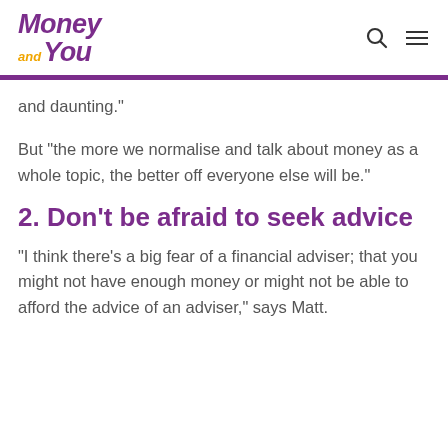Money and You [logo] [search icon] [menu icon]
and daunting."
But "the more we normalise and talk about money as a whole topic, the better off everyone else will be."
2. Don't be afraid to seek advice
"I think there's a big fear of a financial adviser; that you might not have enough money or might not be able to afford the advice of an adviser," says Matt.